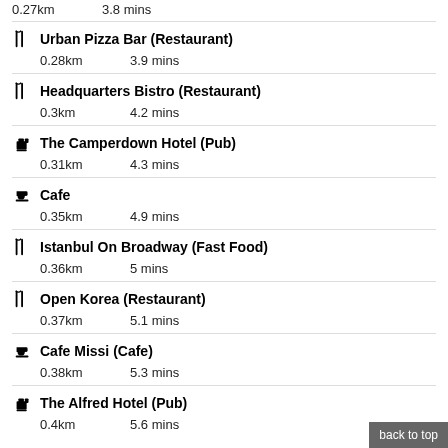0.27km    3.8 mins
🍴 Urban Pizza Bar (Restaurant)
0.28km    3.9 mins
🍴 Headquarters Bistro (Restaurant)
0.3km    4.2 mins
🍺 The Camperdown Hotel (Pub)
0.31km    4.3 mins
☕ Cafe
0.35km    4.9 mins
🍴 Istanbul On Broadway (Fast Food)
0.36km    5 mins
🍴 Open Korea (Restaurant)
0.37km    5.1 mins
☕ Cafe Missi (Cafe)
0.38km    5.3 mins
🍺 The Alfred Hotel (Pub)
0.4km    5.6 mins